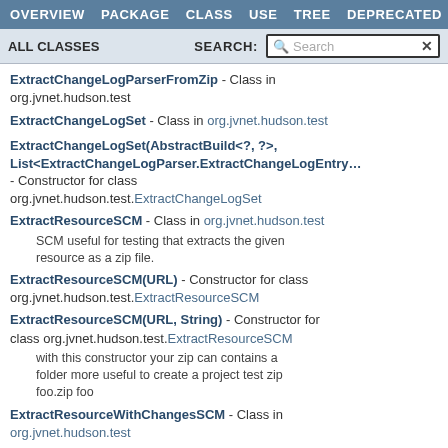OVERVIEW  PACKAGE  CLASS  USE  TREE  DEPRECATED
ALL CLASSES   SEARCH: [Search]
ExtractChangeLogParserFromZip - Class in org.jvnet.hudson.test
ExtractChangeLogSet - Class in org.jvnet.hudson.test
ExtractChangeLogSet(AbstractBuild<?, ?>, List<ExtractChangeLogParser.ExtractChangeLogEntry> - Constructor for class org.jvnet.hudson.test.ExtractChangeLogSet
ExtractResourceSCM - Class in org.jvnet.hudson.test
SCM useful for testing that extracts the given resource as a zip file.
ExtractResourceSCM(URL) - Constructor for class org.jvnet.hudson.test.ExtractResourceSCM
ExtractResourceSCM(URL, String) - Constructor for class org.jvnet.hudson.test.ExtractResourceSCM
with this constructor your zip can contains a folder more useful to create a project test zip foo.zip foo
ExtractResourceWithChangesSCM - Class in org.jvnet.hudson.test